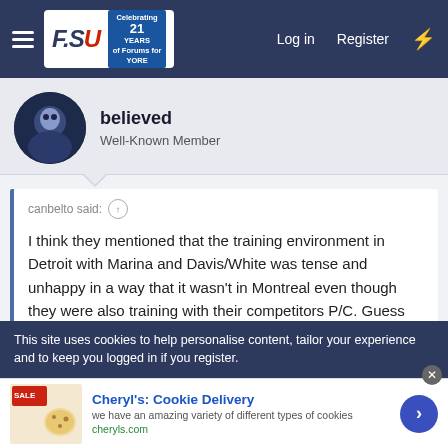FSU forum header with Log in, Register navigation
believed
Well-Known Member
canbelto said: ↑

I think they mentioned that the training environment in Detroit with Marina and Davis/White was tense and unhappy in a way that it wasn't in Montreal even though they were also training with their competitors P/C. Guess it's just personal chemistry why they were able to train alongside P/C without the training environment getting uncomfortable?
This site uses cookies to help personalise content, tailor your experience and to keep you logged in if you register.
Cheryl's: Cookie Delivery
we have an amazing variety of different types of cookies
cheryls.com